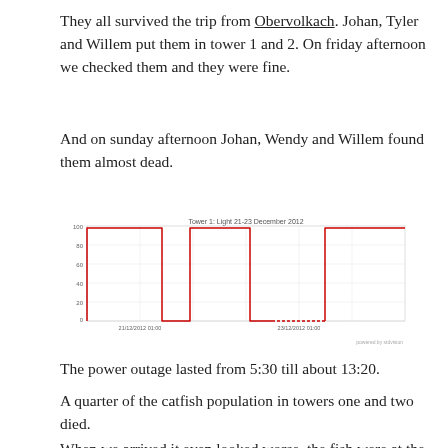They all survived the trip from Obervolkach. Johan, Tyler and Willem put them in tower 1 and 2. On friday afternoon we checked them and they were fine.
And on sunday afternoon Johan, Wendy and Willem found them almost dead.
[Figure (line-chart): Square wave line chart showing light levels (0-100) for Tower 1 from 21-23 December 2012. The signal shows high level (~100) for most of the first period, drops to near 0, rises to ~100, drops to near 0 again (with dotted line indicating outage), then rises back to ~100.]
The power outage lasted from 5:30 till about 13:20.
A quarter of the catfish population in towers one and two died.
When we arrived it even looked worse, the fish were at the surface trying to get air. After restoring water and air